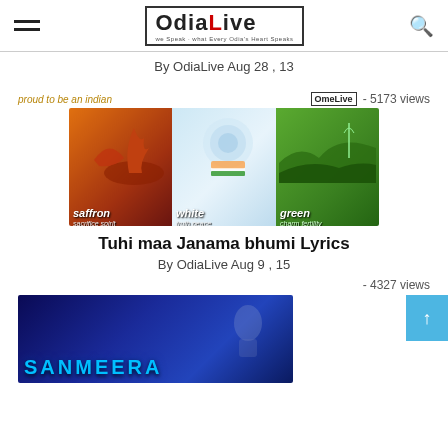OdiaLive - we speak what every Odia's Heart Speaks
By OdiaLive Aug 28 , 13
proud to be an indian · OmeLive · - 5173 views
[Figure (photo): Collage of three panels representing Indian flag colors: saffron (warrior on horseback), white (floral/sky), green (fields). Text: saffron sacrifice spirit | white truth peace | green charm fertility]
Tuhi maa Janama bhumi Lyrics
By OdiaLive Aug 9 , 15
- 4327 views
[Figure (photo): Dark blue concert/event photo with text SANMEERA at bottom, featuring a woman in blue outfit]